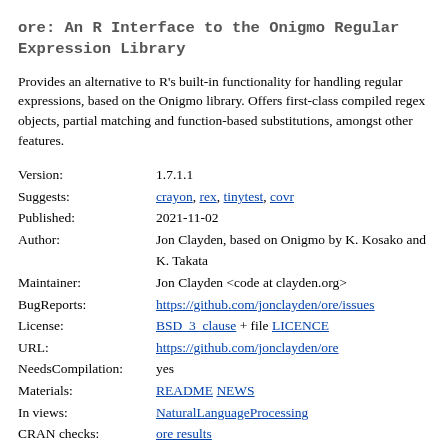ore: An R Interface to the Onigmo Regular Expression Library
Provides an alternative to R's built-in functionality for handling regular expressions, based on the Onigmo library. Offers first-class compiled regex objects, partial matching and function-based substitutions, amongst other features.
| Field | Value |
| --- | --- |
| Version: | 1.7.1.1 |
| Suggests: | crayon, rex, tinytest, covr |
| Published: | 2021-11-02 |
| Author: | Jon Clayden, based on Onigmo by K. Kosako and K. Takata |
| Maintainer: | Jon Clayden <code at clayden.org> |
| BugReports: | https://github.com/jonclayden/ore/issues |
| License: | BSD_3_clause + file LICENCE |
| URL: | https://github.com/jonclayden/ore |
| NeedsCompilation: | yes |
| Materials: | README NEWS |
| In views: | NaturalLanguageProcessing |
| CRAN checks: | ore results |